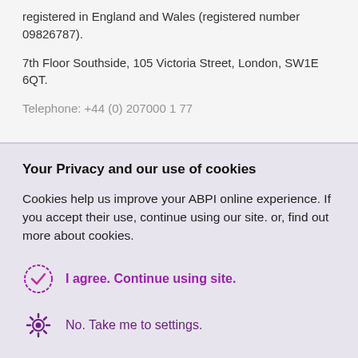registered in England and Wales (registered number 09826787).
7th Floor Southside, 105 Victoria Street, London, SW1E 6QT.
Your Privacy and our use of cookies
Cookies help us improve your ABPI online experience. If you accept their use, continue using our site. or, find out more about cookies.
I agree. Continue using site.
No. Take me to settings.